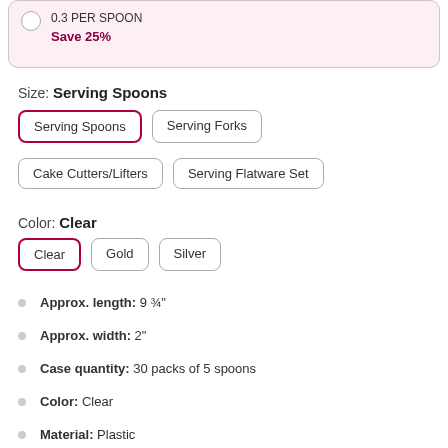0.3 PER SPOON
Save 25%
Size: Serving Spoons
Serving Spoons
Serving Forks
Cake Cutters/Lifters
Serving Flatware Set
Color: Clear
Clear
Gold
Silver
Approx. length: 9 ¾"
Approx. width: 2"
Case quantity: 30 packs of 5 spoons
Color: Clear
Material: Plastic